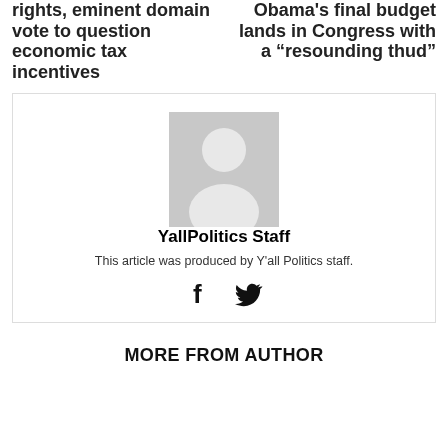rights, eminent domain vote to question economic tax incentives
Obama's final budget lands in Congress with a “resounding thud”
[Figure (photo): Default avatar placeholder image showing a silhouette of a person on a gray background]
YallPolitics Staff
This article was produced by Y'all Politics staff.
[Figure (other): Social media icons: Facebook (f) and Twitter (bird)]
MORE FROM AUTHOR